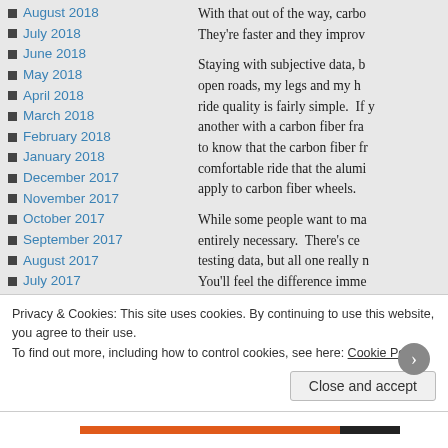August 2018
July 2018
June 2018
May 2018
April 2018
March 2018
February 2018
January 2018
December 2017
November 2017
October 2017
September 2017
August 2017
July 2017
June 2017
May 2017
April 2017
With that out of the way, carbo They're faster and they improv
Staying with subjective data, b open roads, my legs and my h ride quality is fairly simple. If y another with a carbon fiber fra to know that the carbon fiber fr comfortable ride that the alumi apply to carbon fiber wheels.
While some people want to ma entirely necessary. There's ce testing data, but all one really You'll feel the difference imme
Privacy & Cookies: This site uses cookies. By continuing to use this website, you agree to their use.
To find out more, including how to control cookies, see here: Cookie Policy
Close and accept